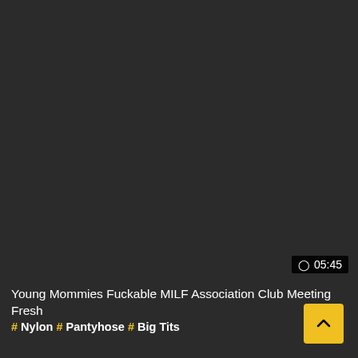[Figure (screenshot): Dark background thumbnail area for a video, nearly black/dark gray, no visible image content.]
⊙ 05:45
Young Mommies Fuckable MILF Association Club Meeting Fresh
# Nylon # Pantyhose # Big Tits